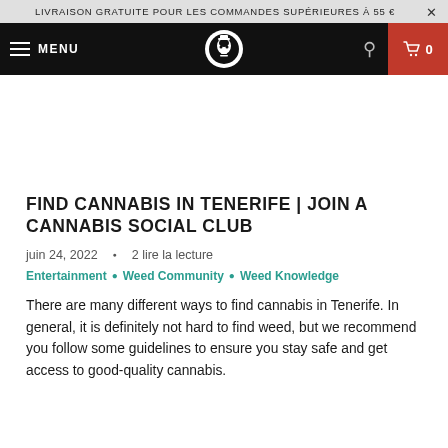LIVRAISON GRATUITE POUR LES COMMANDES SUPÉRIEURES À 55 €
[Figure (screenshot): Website navigation bar with hamburger menu, MENU text, logo, search icon, and red cart button showing 0]
FIND CANNABIS IN TENERIFE | JOIN A CANNABIS SOCIAL CLUB
juin 24, 2022  •  2 lire la lecture
Entertainment • Weed Community • Weed Knowledge
There are many different ways to find cannabis in Tenerife. In general, it is definitely not hard to find weed, but we recommend you follow some guidelines to ensure you stay safe and get access to good-quality cannabis.